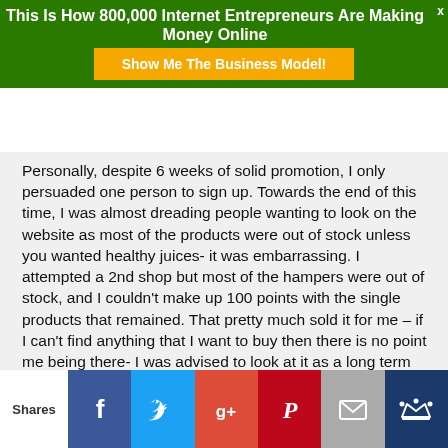This Is How 800,000 Internet Entrepreneurs Are Making Money Online
[Figure (other): Orange button with text: Show Me The Business Model!]
Personally, despite 6 weeks of solid promotion, I only persuaded one person to sign up. Towards the end of this time, I was almost dreading people wanting to look on the website as most of the products were out of stock unless you wanted healthy juices- it was embarrassing. I attempted a 2nd shop but most of the hampers were out of stock, and I couldn't make up 100 points with the single products that remained. That pretty much sold it for me – if I can't find anything that I want to buy then there is no point me being there- I was advised to look at it as a long term business investment
Shares [Facebook] [Twitter] [Google+] [Pinterest] [Email] [Crown]